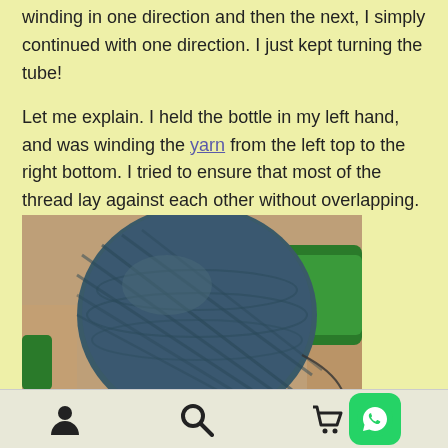winding in one direction and then the next, I simply continued with one direction. I just kept turning the tube!
Let me explain. I held the bottle in my left hand, and was winding the yarn from the left top to the right bottom. I tried to ensure that most of the thread lay against each other without overlapping.
[Figure (photo): A ball of dark blue/grey yarn wound around a green bottle, placed on a patterned surface.]
Navigation icons: person, search, cart, WhatsApp